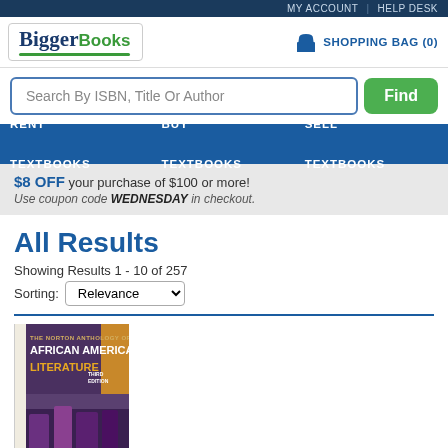MY ACCOUNT | HELP DESK
[Figure (logo): BiggerBooks logo with green underline]
SHOPPING BAG (0)
Search By ISBN, Title Or Author
Find
RENT TEXTBOOKS   BUY TEXTBOOKS   SELL TEXTBOOKS
$8 OFF your purchase of $100 or more! Use coupon code WEDNESDAY in checkout.
All Results
Showing Results 1 - 10 of 257
Sorting: Relevance
[Figure (photo): Book cover: The Norton Anthology of African American Literature, Third Edition]